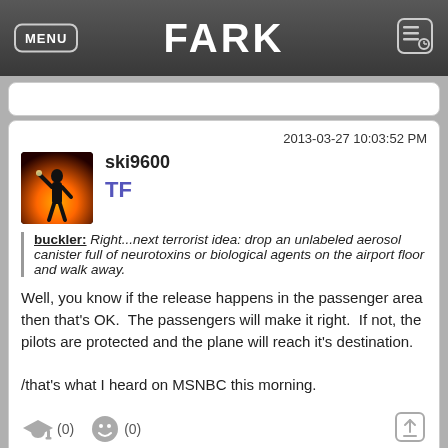FARK
2013-03-27 10:03:52 PM
ski9600
TF
buckler: Right...next terrorist idea: drop an unlabeled aerosol canister full of neurotoxins or biological agents on the airport floor and walk away.
Well, you know if the release happens in the passenger area then that's OK.  The passengers will make it right.  If not, the pilots are protected and the plane will reach it's destination.

/that's what I heard on MSNBC this morning.